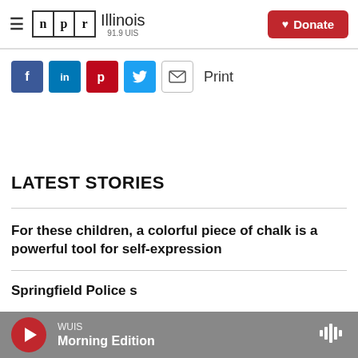NPR Illinois 91.9 UIS — Donate
[Figure (screenshot): Social share buttons: Facebook, LinkedIn, Pinterest, Twitter, Email, and Print label]
LATEST STORIES
For these children, a colorful piece of chalk is a powerful tool for self-expression
WUIS Morning Edition — audio player bar